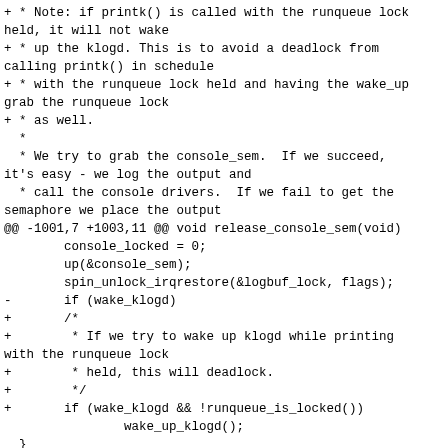Diff/patch code fragment from a Linux kernel patch file showing changes to printk/release_console_sem code and beginning of linux-mcount.git/include/linux/sched.h index section.